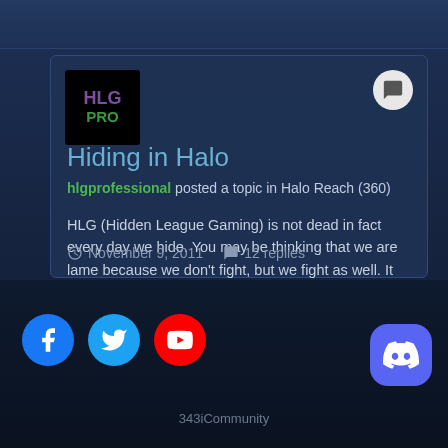Hiding in Halo
hlgprofessional posted a topic in Halo Reach (360)
HLG (Hidden League Gaming) is not dead in fact every day we hide. You may be thinking that we are lame because we don't fight, but we fight as well. It depends what mood we're in. Sometimes the normal game might get boring, but not for us. We have a blast every day and there are so many of us. There...
November 9, 2011   12 replies
[Figure (logo): HLG PRO logo - black square with purple HLG and green PRO text]
[Figure (illustration): Social media icons: Facebook (blue circle), Twitter (light blue circle), YouTube (red circle), Discord (purple rounded square)]
343iCommunity